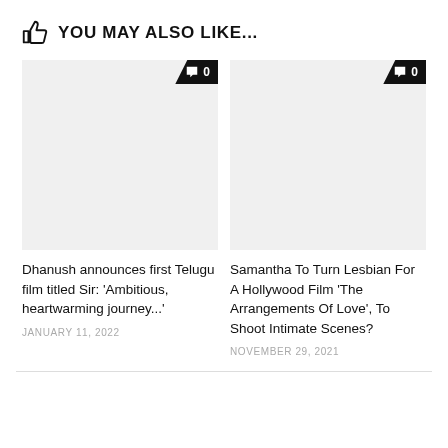YOU MAY ALSO LIKE...
[Figure (photo): Article card image placeholder with comment badge showing 0 comments - left card]
Dhanush announces first Telugu film titled Sir: 'Ambitious, heartwarming journey...'
JANUARY 11, 2022
[Figure (photo): Article card image placeholder with comment badge showing 0 comments - right card]
Samantha To Turn Lesbian For A Hollywood Film 'The Arrangements Of Love', To Shoot Intimate Scenes?
NOVEMBER 29, 2021